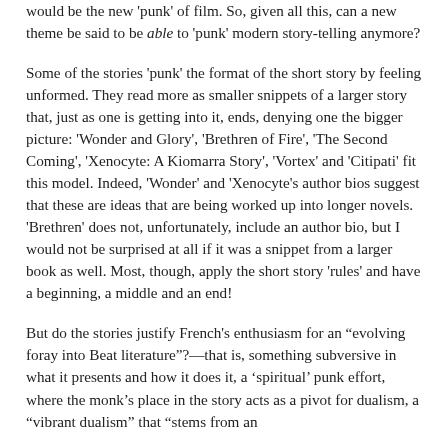would be the new 'punk' of film. So, given all this, can a new theme be said to be able to 'punk' modern story-telling anymore?
Some of the stories 'punk' the format of the short story by feeling unformed. They read more as smaller snippets of a larger story that, just as one is getting into it, ends, denying one the bigger picture: 'Wonder and Glory', 'Brethren of Fire', 'The Second Coming', 'Xenocyte: A Kiomarra Story', 'Vortex' and 'Citipati' fit this model. Indeed, 'Wonder' and 'Xenocyte's author bios suggest that these are ideas that are being worked up into longer novels. 'Brethren' does not, unfortunately, include an author bio, but I would not be surprised at all if it was a snippet from a larger book as well. Most, though, apply the short story 'rules' and have a beginning, a middle and an end!
But do the stories justify French's enthusiasm for an "evolving foray into Beat literature"?—that is, something subversive in what it presents and how it does it, a 'spiritual' punk effort, where the monk's place in the story acts as a pivot for dualism, a "vibrant dualism" that "stems from an